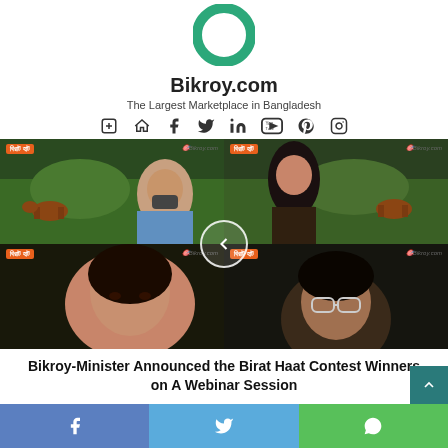[Figure (logo): Bikroy.com green ring logo at top]
Bikroy.com
The Largest Marketplace in Bangladesh
[Figure (infographic): Social media icons row: home, facebook, twitter, linkedin, youtube, pinterest, instagram]
[Figure (photo): 2x2 grid of webinar participants with Birat Haat branding overlays and a circular back-arrow navigation button in the center]
Bikroy-Minister Announced the Birat Haat Contest Winners on A Webinar Session
[Figure (infographic): Bottom share bar with Facebook, Twitter, and WhatsApp share buttons]